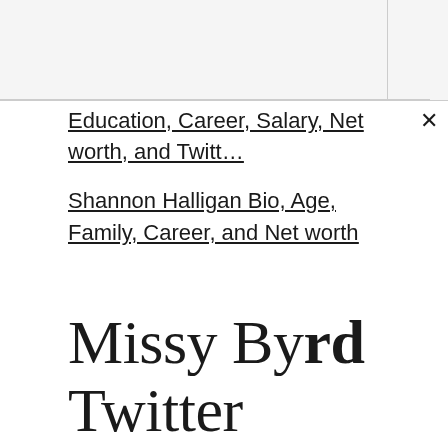Education, Career, Salary, Net worth, and Twitt…
Shannon Halligan Bio, Age, Family, Career, and Net worth
Missy Byrd Twitter